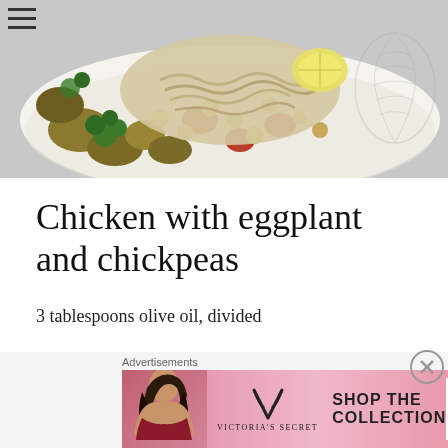[Figure (photo): Overhead shot of chicken with eggplant and chickpeas dish in a white baking dish, surrounded by golden vegetables, chickpeas, tomatoes, and fresh herbs, on a light grey background with a decorative leaf watermark]
Chicken with eggplant and chickpeas
3 tablespoons olive oil, divided
one big sliced onions
2 large garlic cloves, minced
2 teaspoons paprika
[Figure (photo): Victoria's Secret advertisement banner with a woman model on the left, VS logo in center-left, text SHOP THE COLLECTION in center, and SHOP NOW button on right, pink gradient background]